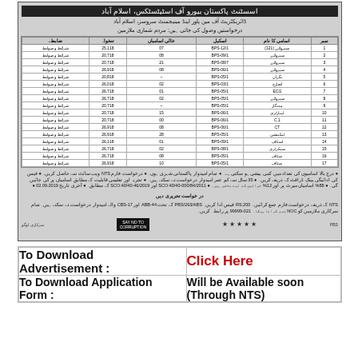[Figure (other): Urdu language government job advertisement image showing a table of positions with BPS scales, vacancies and pay, along with Urdu text instructions and footer with SAY NO TO CORRUPTION logo]
| To Download Advertisement : | Click Here |
| --- | --- |
| To Download Application Form : | Will be Available soon (Through NTS) |
To Download Advertisement :
Click Here
To Download Application Form :
Will be Available soon (Through NTS)